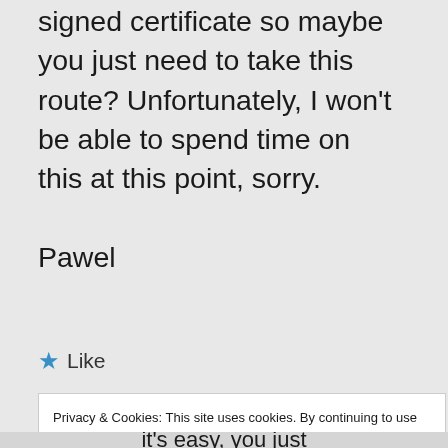signed certificate so maybe you just need to take this route? Unfortunately, I won't be able to spend time on this at this point, sorry.

Pawel
★ Like
Privacy & Cookies: This site uses cookies. By continuing to use this website, you agree to their use. To find out more, including how to control cookies, see here: Cookie Policy
Close and accept
it's easy, you just